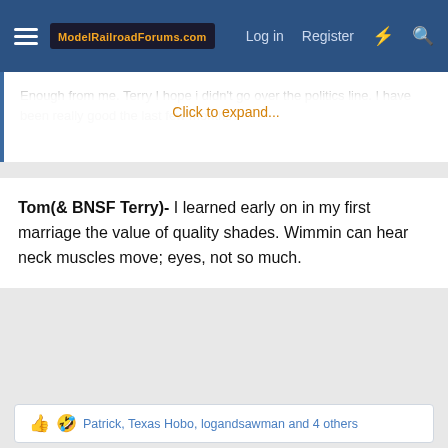ModelRailroadForums.com | Log in | Register
Enough from me. Terry I hope i didn't go over the politics line. I have been really good the last few months? Click to expand...
Tom(& BNSF Terry)- I learned early on in my first marriage the value of quality shades. Wimmin can hear neck muscles move; eyes, not so much.
Patrick, Texas Hobo, logandsawman and 4 others